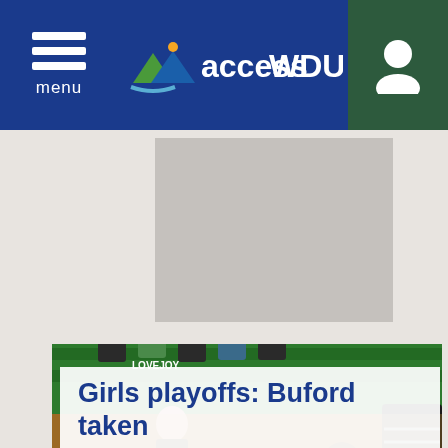accessWDUN
[Figure (photo): Advertisement placeholder area, gray rectangle]
[Figure (photo): Girls basketball playoff game photo: a player on the floor holding a basketball smiling, while an opposing player in black uniform reaches for the ball, gym with green bleachers in background, players wearing Lovejoy jerseys visible]
Girls playoffs: Buford taken